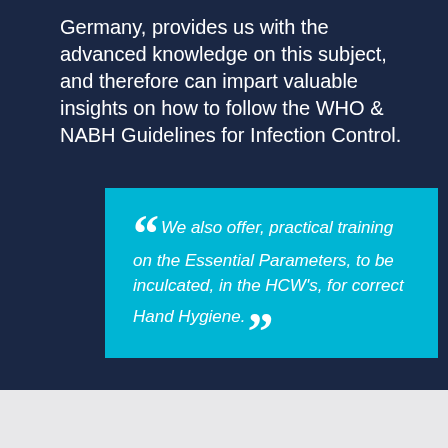Germany, provides us with the advanced knowledge on this subject, and therefore can impart valuable insights on how to follow the WHO & NABH Guidelines for Infection Control.
“We also offer, practical training on the Essential Parameters, to be inculcated, in the HCW’s, for correct Hand Hygiene.”